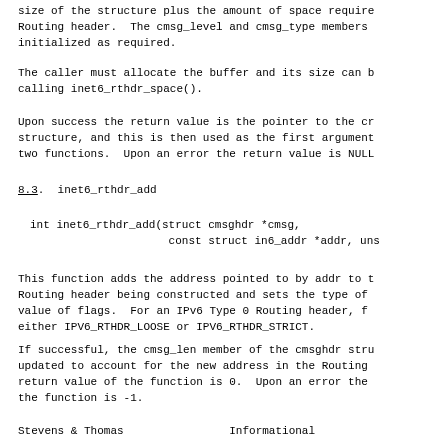size of the structure plus the amount of space require Routing header.  The cmsg_level and cmsg_type members initialized as required.
The caller must allocate the buffer and its size can b calling inet6_rthdr_space().
Upon success the return value is the pointer to the cr structure, and this is then used as the first argument two functions.  Upon an error the return value is NULL
8.3.  inet6_rthdr_add
int inet6_rthdr_add(struct cmsghdr *cmsg,
                    const struct in6_addr *addr, uns
This function adds the address pointed to by addr to t Routing header being constructed and sets the type of value of flags.  For an IPv6 Type 0 Routing header, f either IPV6_RTHDR_LOOSE or IPV6_RTHDR_STRICT.
If successful, the cmsg_len member of the cmsghdr stru updated to account for the new address in the Routing return value of the function is 0.  Upon an error the the function is -1.
Stevens & Thomas                Informational